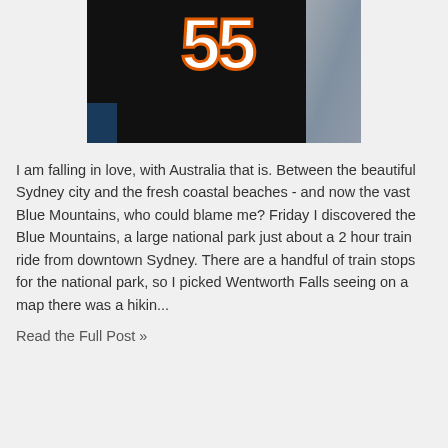[Figure (photo): Photo of a person wearing a black football jersey with the number 55 in white with orange outline, partially showing a gray bag on the right side and a blue partial arm on the lower left.]
I am falling in love, with Australia that is. Between the beautiful Sydney city and the fresh coastal beaches - and now the vast Blue Mountains, who could blame me? Friday I discovered the Blue Mountains, a large national park just about a 2 hour train ride from downtown Sydney. There are a handful of train stops for the national park, so I picked Wentworth Falls seeing on a map there was a hikin...
Read the Full Post »